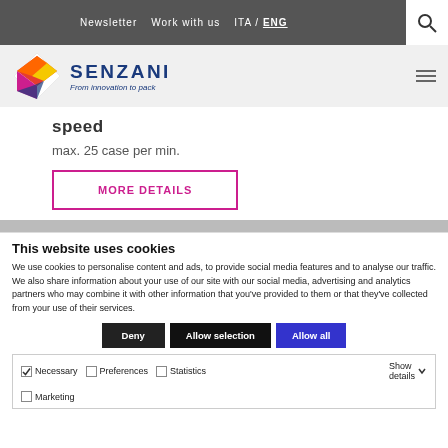Newsletter  Work with us  ITA / ENG
[Figure (logo): Senzani logo with colorful diamond shape and text 'SENZANI From innovation to pack']
speed
max. 25 case per min.
MORE DETAILS
This website uses cookies
We use cookies to personalise content and ads, to provide social media features and to analyse our traffic. We also share information about your use of our site with our social media, advertising and analytics partners who may combine it with other information that you've provided to them or that they've collected from your use of their services.
Deny  Allow selection  Allow all
Necessary  Preferences  Statistics  Marketing  Show details